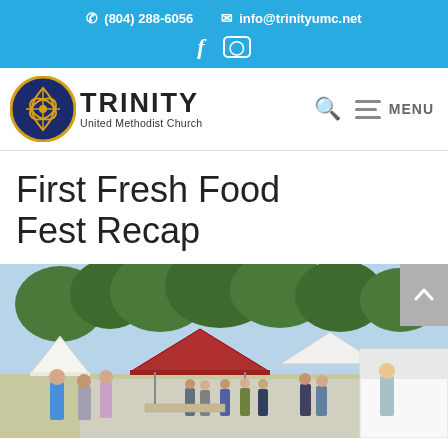(804) 288-6056  info@trinityumc.net
[Figure (logo): Trinity United Methodist Church logo with circular emblem and text]
First Fresh Food Fest Recap
[Figure (photo): Outdoor food festival scene with people, tents including a red canopy, trees in background, vendors on right side]